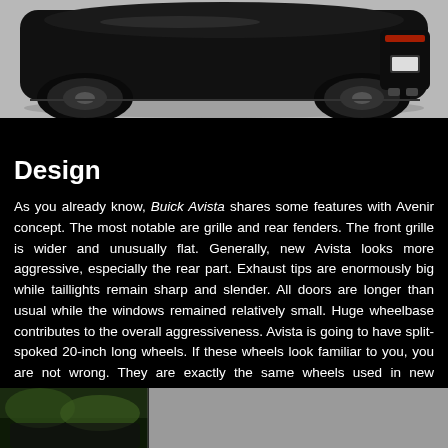[Figure (photo): Rear view of a dark black Buick Avista concept car on a light gray surface, showing rear fenders, exhaust tips, and taillights]
Design
As you already know, Buick Avista shares some features with Avenir concept. The most notable are grille and rear fenders. The front grille is wider and unusually flat. Generally, new Avista looks more aggressive, especially the rear part. Exhaust tips are enormously big while taillights remain sharp and slender. All doors are longer than usual while the windows remained relatively small. Huge wheelbase contributes to the overall aggressiveness. Avista is going to have split-spoked 20-inch long wheels. If these wheels look familiar to you, you are not wrong. They are exactly the same wheels used in new Chevrolet Camaro.
[Figure (photo): Partial view of a car in a green outdoor setting (bottom-left) and a light gray area (bottom-right)]